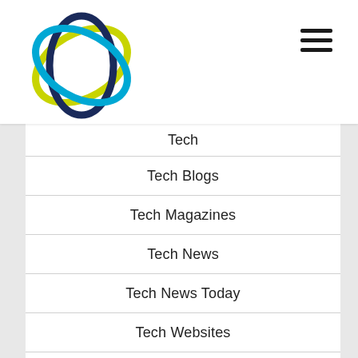[Figure (logo): Circular atomic/orbital logo with overlapping rings in yellow-green, dark blue, and light blue]
Tech
Tech Blogs
Tech Magazines
Tech News
Tech News Today
Tech Websites
Technology
Technology Articles
Technology Review
The Best Technology